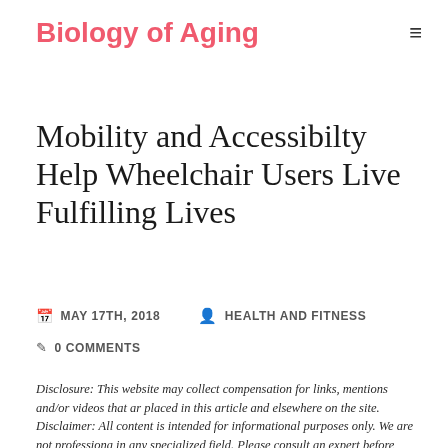Biology of Aging
Mobility and Accessibilty Help Wheelchair Users Live Fulfilling Lives
MAY 17TH, 2018   HEALTH AND FITNESS
0 COMMENTS
Disclosure: This website may collect compensation for links, mentions and/or videos that are placed in this article and elsewhere on the site.
Disclaimer: All content is intended for informational purposes only. We are not professionals in any specialized field. Please consult an expert before making any important decisions, including anything involving your health, finances, or general well being.